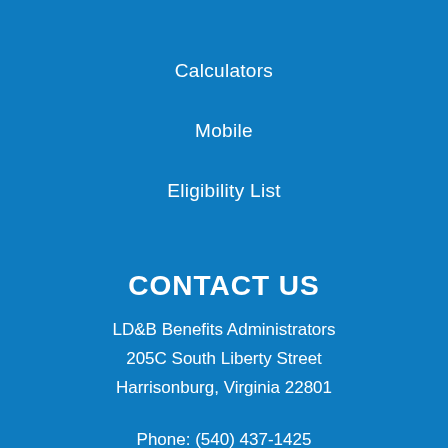Calculators
Mobile
Eligibility List
CONTACT US
LD&B Benefits Administrators
205C South Liberty Street
Harrisonburg, Virginia 22801
Phone: (540) 437-1425
Fax: (540) 438-4133